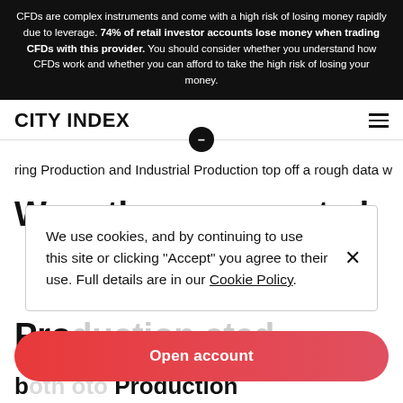CFDs are complex instruments and come with a high risk of losing money rapidly due to leverage. 74% of retail investor accounts lose money when trading CFDs with this provider. You should consider whether you understand how CFDs work and whether you can afford to take the high risk of losing your money.
CITY INDEX
ring Production and Industrial Production top off a rough data w
Were there ever ested
We use cookies, and by continuing to use this site or clicking "Accept" you agree to their use. Full details are in our Cookie Policy.
Pro duction cted
Open account
b oth oto Production